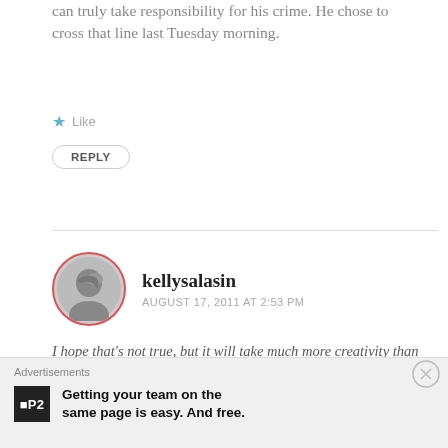can truly take responsibility for his crime. He chose to cross that line last Tuesday morning.
★ Like
REPLY
kellysalasin
AUGUST 17, 2011 AT 2:53 PM
I hope that's not true, but it will take much more creativity than we typically muster as a culture when someone has committed a crime. Norway may have something to teach us.
Advertisements
Getting your team on the same page is easy. And free.